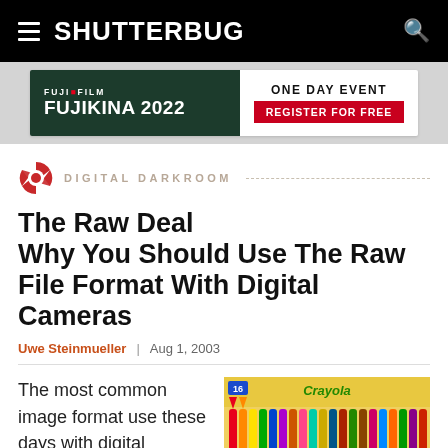SHUTTERBUG
[Figure (illustration): Fujifilm Fujikina 2022 advertisement banner — left side dark green with Fujifilm logo and Fujikina 2022 text in white, right side white with ONE DAY EVENT text and red REGISTER FOR FREE button]
DIGITAL DARKROOM
The Raw Deal Why You Should Use The Raw File Format With Digital Cameras
Uwe Steinmueller | Aug 1, 2003
The most common image format use these days with digital cameras is the JPEG (Joint
[Figure (photo): Photo of a Crayola Big Box of crayons]